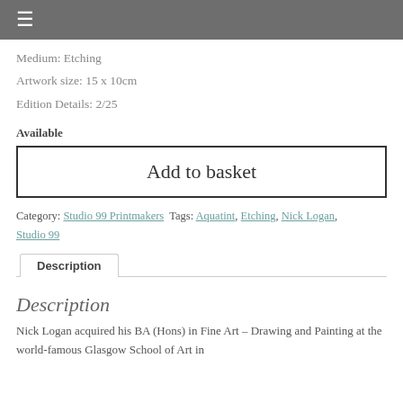≡
Medium: Etching
Artwork size: 15 x 10cm
Edition Details: 2/25
Available
Add to basket
Category: Studio 99 Printmakers  Tags: Aquatint, Etching, Nick Logan, Studio 99
Description
Description
Nick Logan acquired his BA (Hons) in Fine Art – Drawing and Painting at the world-famous Glasgow School of Art in